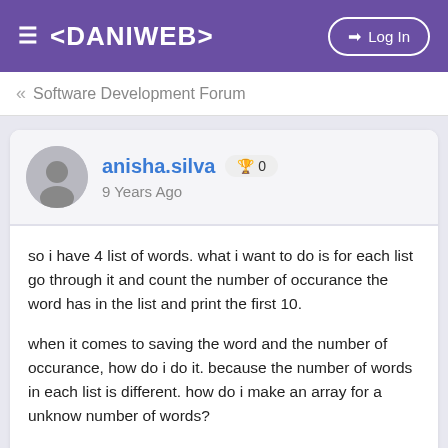≡ <DANIWEB>  →] Log In
« Software Development Forum
anisha.silva  🏆 0
9 Years Ago
so i have 4 list of words. what i want to do is for each list go through it and count the number of occurance the word has in the list and print the first 10.

when it comes to saving the word and the number of occurance, how do i do it. because the number of words in each list is different. how do i make an array for a unknow number of words?

i need to save the word and the number of count for that waord also...